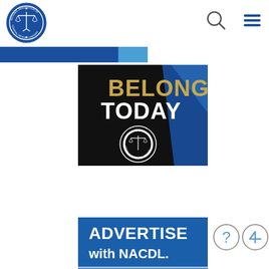[Figure (logo): NACDL National Association of Criminal Defense Lawyers circular logo with scales of justice]
[Figure (illustration): Search magnifying glass icon in header]
[Figure (illustration): Hamburger menu icon in header]
[Figure (illustration): NACDL 'BELONG TODAY' membership banner with gold and white text on dark background with NACDL logo]
[Figure (illustration): NACDL 'ADVERTISE with NACDL.' blue banner ad]
[Figure (illustration): Help question mark circle button]
[Figure (illustration): Scroll to top arrow circle button]